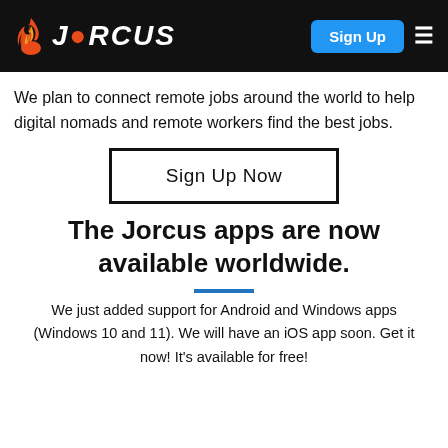JORCUS — Sign Up | ≡
We plan to connect remote jobs around the world to help digital nomads and remote workers find the best jobs.
Sign Up Now
The Jorcus apps are now available worldwide.
We just added support for Android and Windows apps (Windows 10 and 11). We will have an iOS app soon. Get it now! It's available for free!